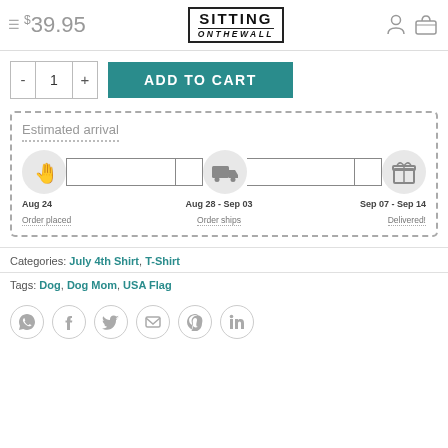$39.95  SITTING ON THE WALL
ADD TO CART  quantity: 1
[Figure (infographic): Estimated arrival timeline showing Order placed (Aug 24), Order ships (Aug 28 - Sep 03), and Delivered! (Sep 07 - Sep 14) with icons and connecting lines]
Categories: July 4th Shirt, T-Shirt
Tags: Dog, Dog Mom, USA Flag
[Figure (infographic): Social share icons: WhatsApp, Facebook, Twitter, Email, Pinterest, LinkedIn]